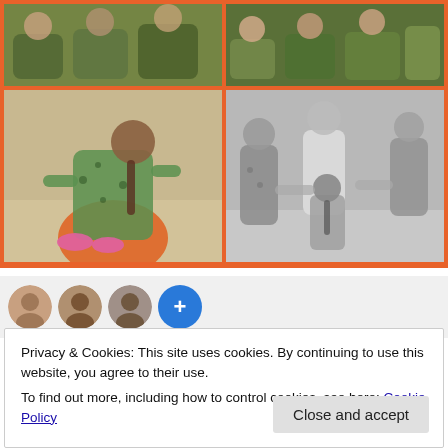[Figure (photo): 2x2 photo collage with orange border showing children in pajamas. Top-left: color photo of children in leopard print pajamas sitting in a group. Top-right: color photo of children in pajamas on floor. Bottom-left: color photo of a girl in green leopard print pajamas crawling on a large orange ball, wearing pink slippers. Bottom-right: black and white photo of children in a circle holding hands or playing a game.]
[Figure (photo): Social/avatar bar showing three circular profile photo avatars and a blue circle with a plus sign, on a light gray background.]
Privacy & Cookies: This site uses cookies. By continuing to use this website, you agree to their use.
To find out more, including how to control cookies, see here: Cookie Policy